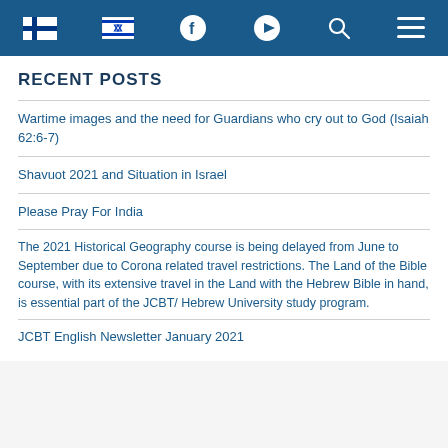[Navigation bar with Finland flag, Israel flag, Facebook, YouTube, Search, and Menu icons]
RECENT POSTS
Wartime images and the need for Guardians who cry out to God (Isaiah 62:6-7)
Shavuot 2021 and Situation in Israel
Please Pray For India
The 2021 Historical Geography course is being delayed from June to September due to Corona related travel restrictions. The Land of the Bible course, with its extensive travel in the Land with the Hebrew Bible in hand, is essential part of the JCBT/ Hebrew University study program.
JCBT English Newsletter January 2021